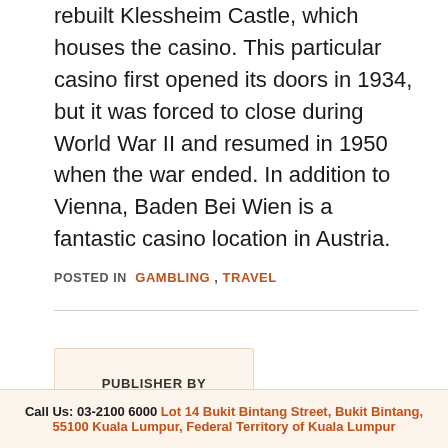rebuilt Klessheim Castle, which houses the casino. This particular casino first opened its doors in 1934, but it was forced to close during World War II and resumed in 1950 when the war ended. In addition to Vienna, Baden Bei Wien is a fantastic casino location in Austria.
POSTED IN  GAMBLING ,  TRAVEL
PUBLISHER BY
Call Us: 03-2100 6000 Lot 14 Bukit Bintang Street, Bukit Bintang, 55100 Kuala Lumpur, Federal Territory of Kuala Lumpur